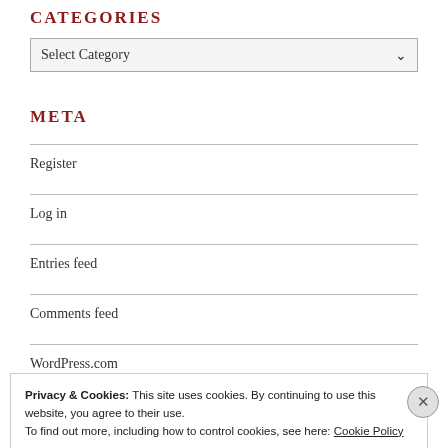CATEGORIES
[Figure (other): A dropdown select box labeled 'Select Category' with a down-arrow chevron on the right]
META
Register
Log in
Entries feed
Comments feed
WordPress.com
Privacy & Cookies: This site uses cookies. By continuing to use this website, you agree to their use.
To find out more, including how to control cookies, see here: Cookie Policy
Close and accept